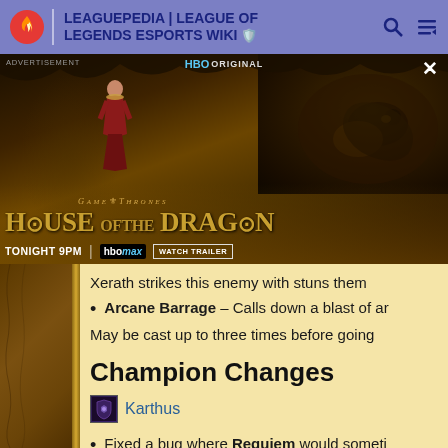LEAGUEPEDIA | LEAGUE OF LEGENDS ESPORTS WIKI
[Figure (photo): HBO Original advertisement for House of the Dragon - Game of Thrones spinoff. Shows a character in red dress standing before a dragon. Text reads: GAME OF THRONES HOUSE OF THE DRAGON TONIGHT 9PM HBO MAX WATCH TRAILER]
Xerath strikes this enemy with stuns them
Arcane Barrage – Calls down a blast of ar
May be cast up to three times before going
Champion Changes
Karthus
Fixed a bug where Requiem would someti